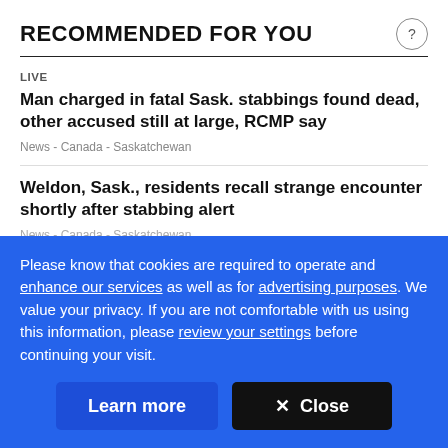RECOMMENDED FOR YOU
LIVE
Man charged in fatal Sask. stabbings found dead, other accused still at large, RCMP say
News  -  Canada  -  Saskatchewan
Weldon, Sask., residents recall strange encounter shortly after stabbing alert
News  -  Canada  -  Saskatchewan
Please know that cookies are required to operate and enhance our services as well as for advertising purposes. We value your privacy. If you are not comfortable with us using this information, please review your settings before continuing your visit.
Learn more
✕  Close